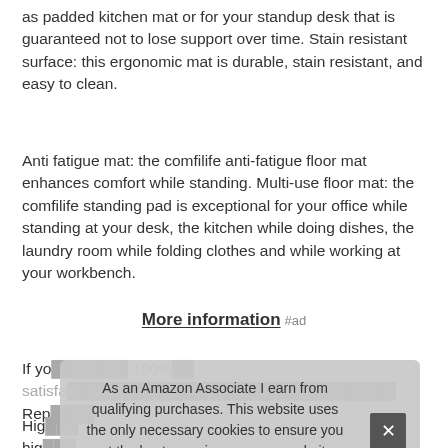as padded kitchen mat or for your standup desk that is guaranteed not to lose support over time. Stain resistant surface: this ergonomic mat is durable, stain resistant, and easy to clean.
Anti fatigue mat: the comfilife anti-fatigue floor mat enhances comfort while standing. Multi-use floor mat: the comfilife standing pad is exceptional for your office while standing at your desk, the kitchen while doing dishes, the laundry room while folding clothes and while working at your workbench.
More information #ad
If yo... 100%... satisfa... offer atisf tion. Mon Back Rep...
High... high... the Comfilife cushioned mat core is made of 3/4" thick, and
As an Amazon Associate I earn from qualifying purchases. This website uses the only necessary cookies to ensure you get the best experience on our website. More information